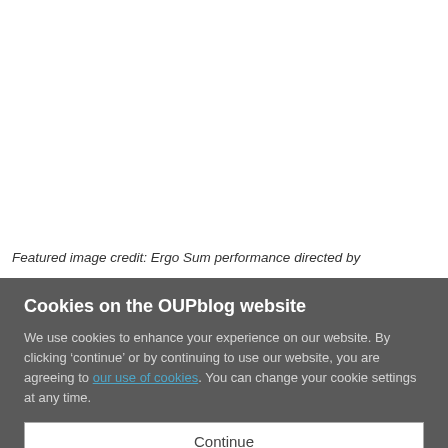Featured image credit: Ergo Sum performance directed by
Cookies on the OUPblog website
We use cookies to enhance your experience on our website. By clicking ‘continue’ or by continuing to use our website, you are agreeing to our use of cookies. You can change your cookie settings at any time.
Continue